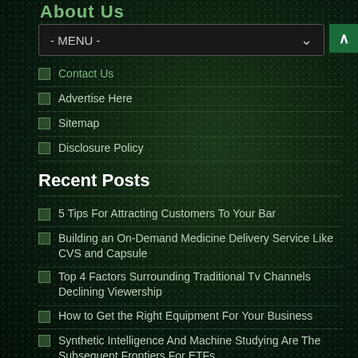About Us
Contact Us
Advertise Here
Sitemap
Disclosure Policy
Recent Posts
5 Tips For Attracting Customers To Your Bar
Building an On-Demand Medicine Delivery Service Like CVS and Capsule
Top 4 Factors Surrounding Traditional Tv Channels Declining Viewership
How to Get the Right Equipment For Your Business
Synthetic Intelligence And Machine Studying Are The Subsequent Frontiers For ETFs